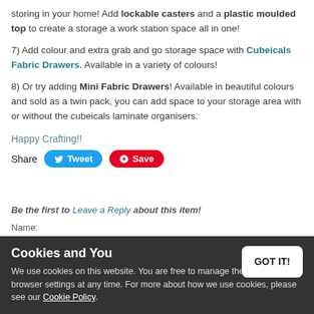storing in your home! Add lockable casters and a plastic moulded top to create a storage a work station space all in one!
7) Add colour and extra grab and go storage space with Cubeicals Fabric Drawers. Available in a variety of colours!
8) Or try adding Mini Fabric Drawers! Available in beautiful colours and sold as a twin pack, you can add space to your storage area with or without the cubeicals laminate organisers.
Happy Crafting!!
Share  Tweet  Save
Be the first to Leave a Reply about this item!
Name:
Cookies and You
We use cookies on this website. You are free to manage these via your browser settings at any time. For more about how we use cookies, please see our Cookie Policy.